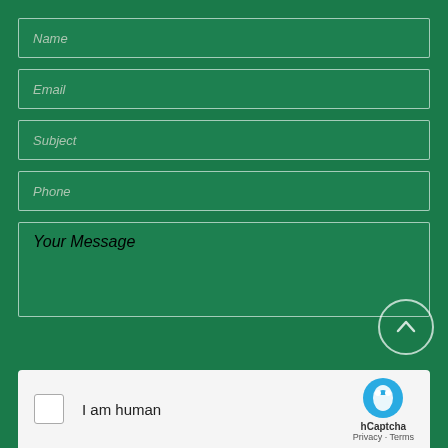Name
Email
Subject
Phone
Your Message
[Figure (other): Scroll-to-top circular button with upward arrow icon]
I am human
[Figure (logo): hCaptcha logo with hand icon, Privacy - Terms links]